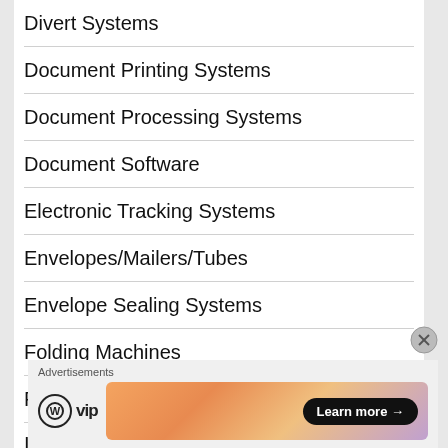Divert Systems
Document Printing Systems
Document Processing Systems
Document Software
Electronic Tracking Systems
Envelopes/Mailers/Tubes
Envelope Sealing Systems
Folding Machines
Furniture Systems
Incoming Mail Sorters & Systems
Advertisements
[Figure (logo): WordPress VIP logo with circle W icon and 'vip' text]
[Figure (infographic): Advertisement banner with gradient orange/pink background and 'Learn more →' button]